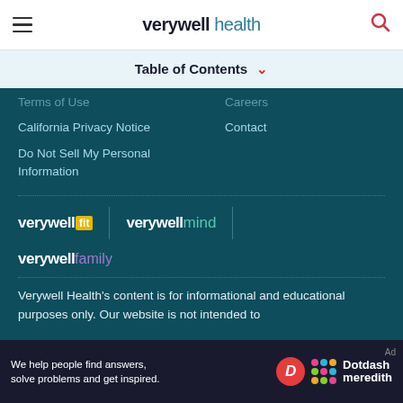verywell health — navigation bar with hamburger menu and search icon
Table of Contents ∨
Terms of Use
Careers
California Privacy Notice
Contact
Do Not Sell My Personal Information
[Figure (logo): verywell fit logo with yellow badge]
[Figure (logo): verywell mind logo]
[Figure (logo): verywell family logo]
Verywell Health's content is for informational and educational purposes only. Our website is not intended to
We help people find answers, solve problems and get inspired. Dotdash meredith